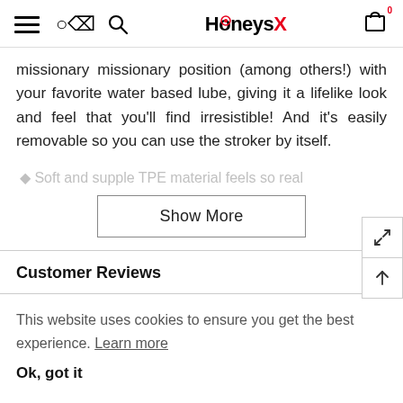HoneysX
missionary missionary position (among others!) with your favorite water based lube, giving it a lifelike look and feel that you'll find irresistible! And it's easily removable so you can use the stroker by itself.
Soft and supple TPE material feels so real
Show More
Customer Reviews
This website uses cookies to ensure you get the best experience. Learn more
Ok, got it